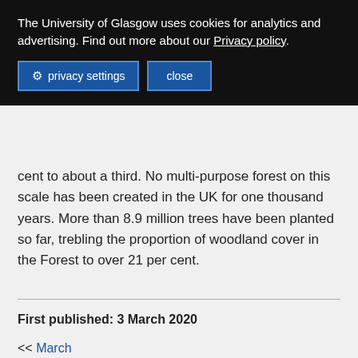The University of Glasgow uses cookies for analytics and advertising. Find out more about our Privacy policy.
privacy settings   close
cent to about a third. No multi-purpose forest on this scale has been created in the UK for one thousand years. More than 8.9 million trees have been planted so far, trebling the proportion of woodland cover in the Forest to over 21 per cent.
First published: 3 March 2020
<< March